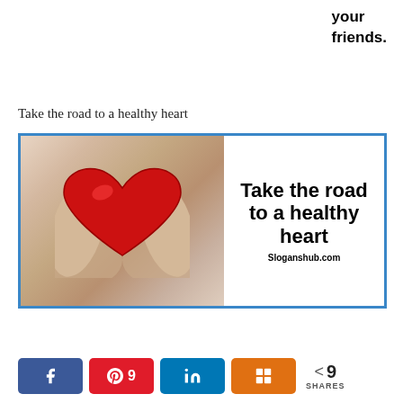your
friends.
Take the road to a healthy heart
[Figure (illustration): Promotional health image showing two hands cupping a red heart, with bold text reading 'Take the road to a healthy heart' and 'Sloganshub.com', framed with a blue border.]
k  ⊕ 9  in  ⬛  < 9 SHARES